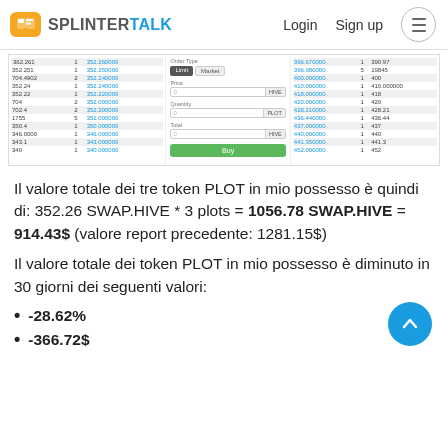SPLINTERTALK | Login  Sign up
[Figure (screenshot): Trading interface screenshot showing order book with PLOT token prices and quantities on left and right, and an order form in the center with Limit/Market buttons, Price field (HIVE), Quantity field (PLOT), Total field (HIVE), and a green Buy button.]
Il valore totale dei tre token PLOT in mio possesso è quindi di: 352.26 SWAP.HIVE * 3 plots = 1056.78 SWAP.HIVE = 914.43$ (valore report precedente: 1281.15$)
Il valore totale dei token PLOT in mio possesso è diminuto in 30 giorni dei seguenti valori:
-28.62%
-366.72$